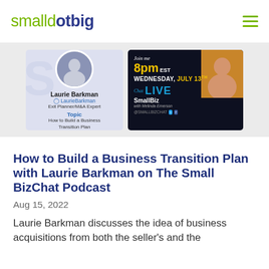smalldotbig
[Figure (infographic): SmallBizChat LIVE promotional banner showing Laurie Barkman, Exit Planner/M&A Expert, guest card on left with topic 'How to Build a Business Transition Plan', and event announcement on right: Join me 8pm EST Wednesday, July 13th, SmallBiz Chat LIVE]
How to Build a Business Transition Plan with Laurie Barkman on The Small BizChat Podcast
Aug 15, 2022
Laurie Barkman discusses the idea of business acquisitions from both the seller's and the